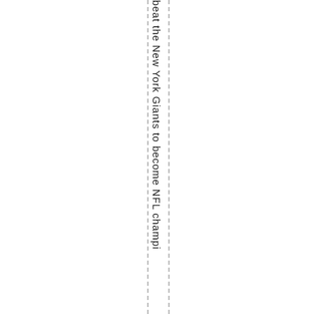beat the New York Giants to become NFL champi